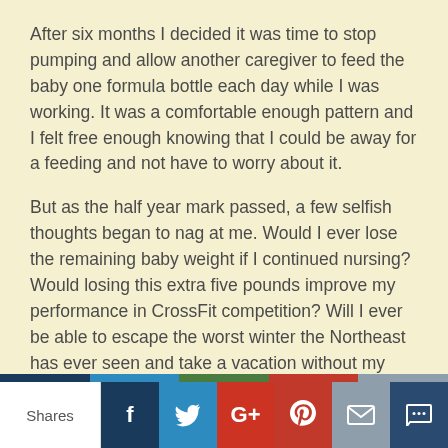After six months I decided it was time to stop pumping and allow another caregiver to feed the baby one formula bottle each day while I was working. It was a comfortable enough pattern and I felt free enough knowing that I could be away for a feeding and not have to worry about it.
But as the half year mark passed, a few selfish thoughts began to nag at me. Would I ever lose the remaining baby weight if I continued nursing? Would losing this extra five pounds improve my performance in CrossFit competition? Will I ever be able to escape the worst winter the Northeast has ever seen and take a vacation without my children who I refuse to travel with until my son turns 5 and
Shares | f | Twitter | G+ | Pinterest | Email | Crown